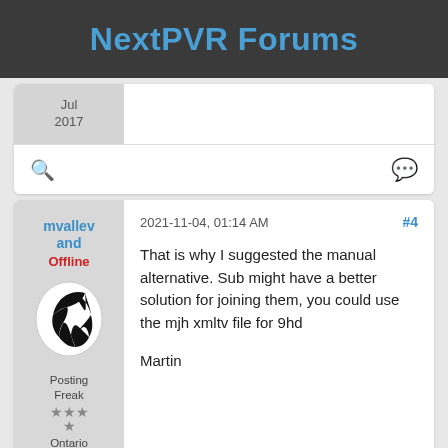NextPVR Forums
Jul
2017
🔍 💬
mvallevand
Offline
2021-11-04, 01:14 AM
#4

That is why I suggested the manual alternative.  Sub might have a better solution for joining them, you could use the mjh xmltv file for 9hd

Martin
Posting Freak
★★★
★
Ontario